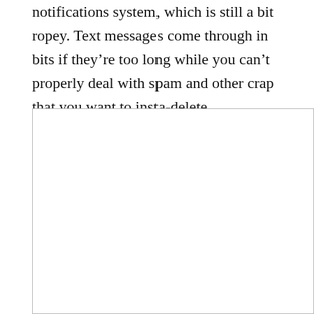notifications system, which is still a bit ropey. Text messages come through in bits if they're too long while you can't properly deal with spam and other crap that you want to insta-delete.
[Figure (other): A large empty white box with a light gray border, representing a placeholder image or screenshot area.]